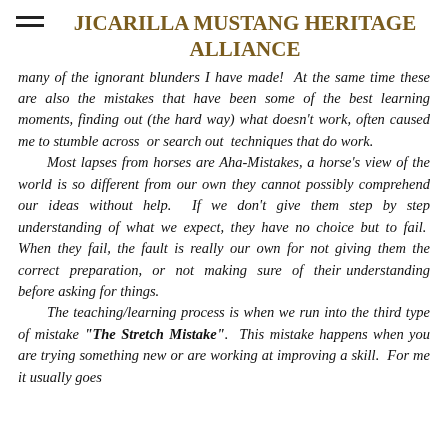JICARILLA MUSTANG HERITAGE ALLIANCE
many of the ignorant blunders I have made!  At the same time these are also the mistakes that have been some of the best learning moments, finding out (the hard way) what doesn't work, often caused me to stumble across  or search out  techniques that do work.
    Most lapses from horses are Aha-Mistakes, a horse's view of the world is so different from our own they cannot possibly comprehend our ideas without help.  If we don't give them step by step understanding of what we expect, they have no choice but to fail.  When they fail, the fault is really our own for not giving them the correct  preparation,  or  not  making  sure  of  their understanding before asking for things.
    The teaching/learning process is when we run into the third type of mistake "The Stretch Mistake".  This mistake happens when you are trying something new or are working at improving a skill.  For me it usually goes